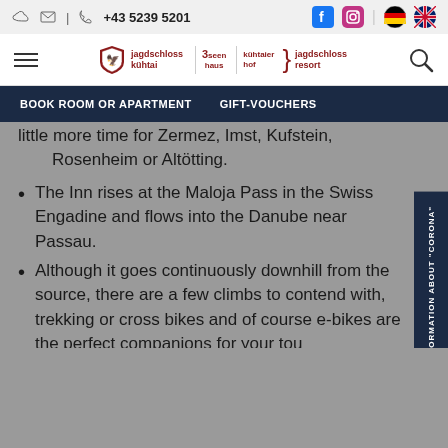+43 5239 5201
little more time for Zermez, Imst, Kufstein, Rosenheim or Altötting.
The Inn rises at the Maloja Pass in the Swiss Engadine and flows into the Danube near Passau.
Although it goes continuously downhill from the source, there are a few climbs to contend with, trekking or cross bikes and of course e-bikes are the perfect companions for your tour.
Altitude of the Innradweg uphill: 1,628 m and downhill: 3,146 m.
Here you will find your summer host, the 3-